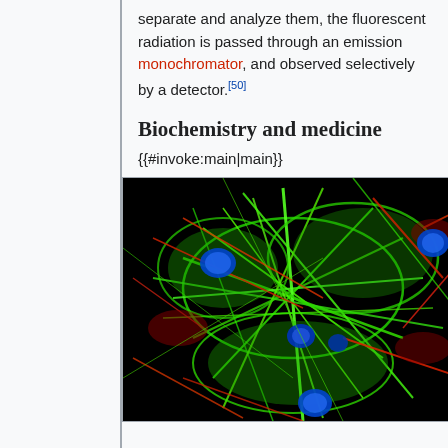separate and analyze them, the fluorescent radiation is passed through an emission monochromator, and observed selectively by a detector.[50]
Biochemistry and medicine
{{#invoke:main|main}}
[Figure (photo): Fluorescence microscopy image of cells showing green cytoskeletal filaments, red actin fibers, and blue nuclei against a black background.]